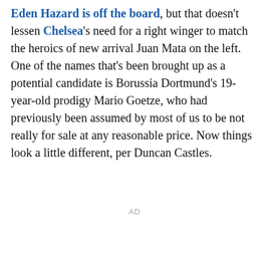Eden Hazard is off the board, but that doesn't lessen Chelsea's need for a right winger to match the heroics of new arrival Juan Mata on the left. One of the names that's been brought up as a potential candidate is Borussia Dortmund's 19-year-old prodigy Mario Goetze, who had previously been assumed by most of us to be not really for sale at any reasonable price. Now things look a little different, per Duncan Castles.
AD